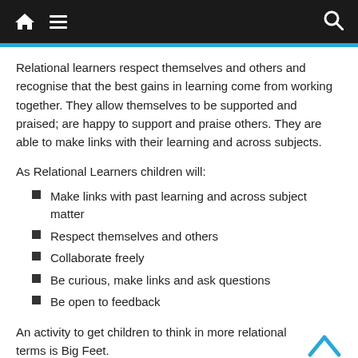Navigation bar with home, menu, and search icons
Relational learners respect themselves and others and recognise that the best gains in learning come from working together. They allow themselves to be supported and praised; are happy to support and praise others. They are able to make links with their learning and across subjects.
As Relational Learners children will:
Make links with past learning and across subject matter
Respect themselves and others
Collaborate freely
Be curious, make links and ask questions
Be open to feedback
An activity to get children to think in more relational terms is Big Feet.